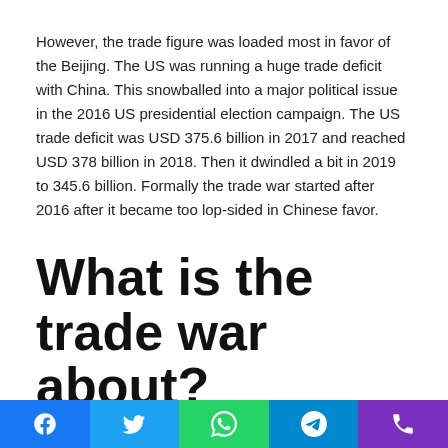However, the trade figure was loaded most in favor of the Beijing. The US was running a huge trade deficit with China. This snowballed into a major political issue in the 2016 US presidential election campaign. The US trade deficit was USD 375.6 billion in 2017 and reached USD 378 billion in 2018. Then it dwindled a bit in 2019 to 345.6 billion. Formally the trade war started after 2016 after it became too lop-sided in Chinese favor.
What is the trade war about?
In order to offset the burgeoning deficit, the US initiated a